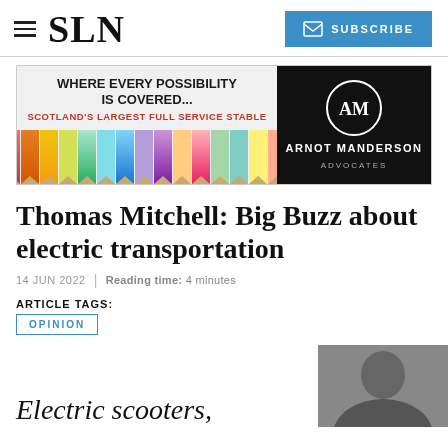SLN | SUBSCRIBE
[Figure (advertisement): Ad banner: 'WHERE EVERY POSSIBILITY IS COVERED... SCOTLAND'S LARGEST FULL SERVICE STABLE' with colorful pencils image on left, and Arnot Manderson Advocates logo on black background on right.]
Thomas Mitchell: Big Buzz about electric transportation
14 JUN 2022 | Reading time: 4 minutes
ARTICLE TAGS:
OPINION
Electric scooters,